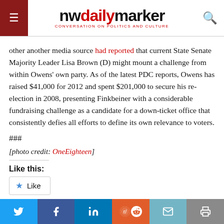nwdailymarker — CONVERSATION ON POLITICS AND CULTURE
other another media source had reported that current State Senate Majority Leader Lisa Brown (D) might mount a challenge from within Owens' own party. As of the latest PDC reports, Owens has raised $41,000 for 2012 and spent $201,000 to secure his re-election in 2008, presenting Finkbeiner with a considerable fundraising challenge as a candidate for a down-ticket office that consistently defies all efforts to define its own relevance to voters.
###
[photo credit: OneEighteen]
Like this:
Be the first to like this.